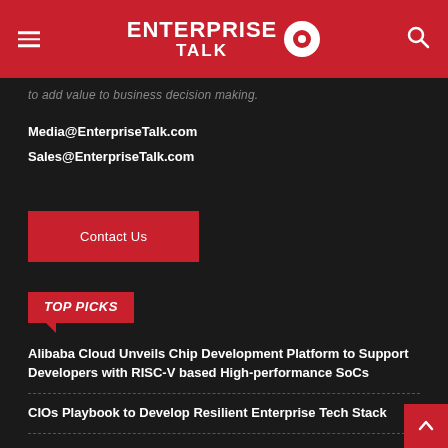ENTERPRISE TALK
to add value to business decision making.
Media@EnterpriseTalk.com
Sales@EnterpriseTalk.com
Contact Us
TOP PICKS
Alibaba Cloud Unveils Chip Development Platform to Support Developers with RISC-V based High-performance SoCs
CIOs Playbook to Develop Resilient Enterprise Tech Stack
Best Practices for Developing Cloud-Based Machine Learning Platforms